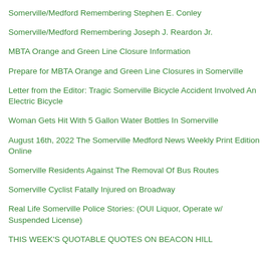Somerville/Medford Remembering Stephen E. Conley
Somerville/Medford Remembering Joseph J. Reardon Jr.
MBTA Orange and Green Line Closure Information
Prepare for MBTA Orange and Green Line Closures in Somerville
Letter from the Editor: Tragic Somerville Bicycle Accident Involved An Electric Bicycle
Woman Gets Hit With 5 Gallon Water Bottles In Somerville
August 16th, 2022 The Somerville Medford News Weekly Print Edition Online
Somerville Residents Against The Removal Of Bus Routes
Somerville Cyclist Fatally Injured on Broadway
Real Life Somerville Police Stories: (OUI Liquor, Operate w/ Suspended License)
THIS WEEK'S QUOTABLE QUOTES ON BEACON HILL